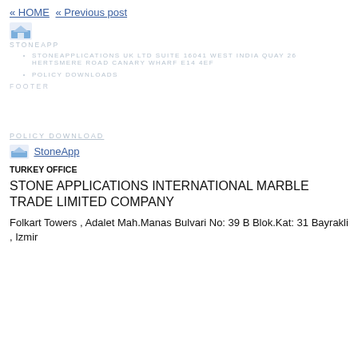« HOME « Previous post
[Figure (logo): Small landscape/image icon representing StoneApp logo]
STONEAPP
STONEAPPLICATIONS UK LTD SUITE 16041 WEST INDIA QUAY 26 HERTSMERE ROAD CANARY WHARF E14 4EF
POLICY DOWNLOADS
FOOTER
POLICY DOWNLOAD
[Figure (logo): StoneApp logo image link]
TURKEY OFFICE
STONE APPLICATIONS INTERNATIONAL MARBLE TRADE LIMITED COMPANY
Folkart Towers , Adalet Mah.Manas Bulvari No: 39 B Blok.Kat: 31 Bayrakli , Izmir